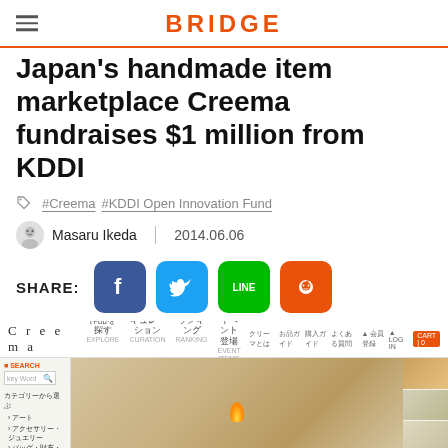BRIDGE
Japan's handmade item marketplace Creema fundraises $1 million from KDDI
#Creema  #KDDI Open Innovation Fund
Masaru Ikeda  |  2014.06.06
[Figure (screenshot): Social share buttons row: SHARE: Facebook, Twitter, LINE, Reddit]
[Figure (screenshot): Screenshot of the Creema website showing navigation bar and product images of handmade candles]